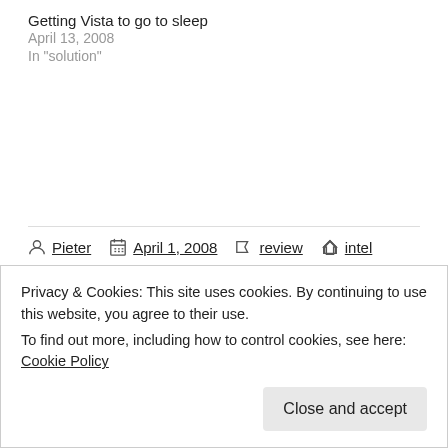Getting Vista to go to sleep
April 13, 2008
In "solution"
Pieter   April 1, 2008   review   intel
Published by
Privacy & Cookies: This site uses cookies. By continuing to use this website, you agree to their use.
To find out more, including how to control cookies, see here: Cookie Policy

Close and accept